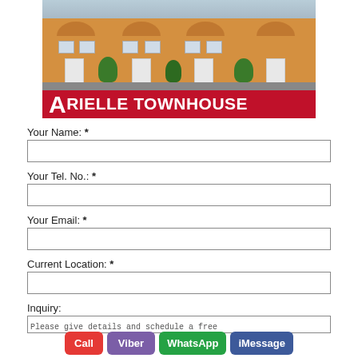[Figure (photo): Exterior photo of Arielle Townhouse showing a row of yellow-orange townhouse units with a red banner overlay at the bottom reading 'ARIELLE TOWNHOUSE']
Your Name: *
Your Tel. No.: *
Your Email: *
Current Location: *
Inquiry:
Please give details and schedule a free...